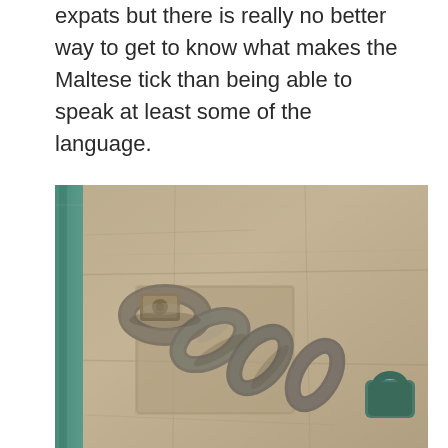expats but there is really no better way to get to know what makes the Maltese tick than being able to speak at least some of the language.
[Figure (photo): Close-up photograph of a heavy, weathered iron chain attached to a limestone or sandstone wall, with a rusty/aged metal lock or anchor point visible. The stone surface has a sandy beige texture, and teal/patina coloring is visible on the left edge.]